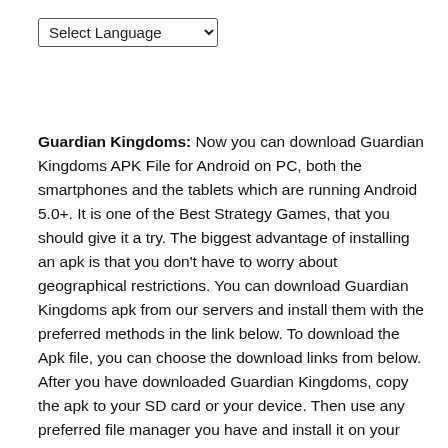[Figure (other): A 'Select Language' dropdown menu widget at the top of the page]
Guardian Kingdoms: Now you can download Guardian Kingdoms APK File for Android on PC, both the smartphones and the tablets which are running Android 5.0+. It is one of the Best Strategy Games, that you should give it a try. The biggest advantage of installing an apk is that you don't have to worry about geographical restrictions. You can download Guardian Kingdoms apk from our servers and install them with the preferred methods in the link below. To download the Apk file, you can choose the download links from below. After you have downloaded Guardian Kingdoms, copy the apk to your SD card or your device. Then use any preferred file manager you have and install it on your device.